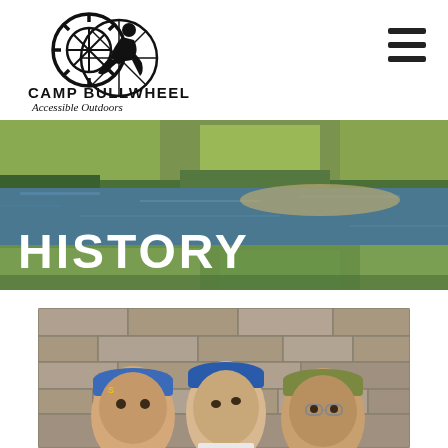[Figure (logo): Camp Bullwheel logo with gear/wheel imagery and silhouette figure, black and white]
CAMP BULLWHEEL
Accessible Outdoors
[Figure (photo): Hamburger/navigation menu icon with three horizontal bars]
[Figure (photo): Hero banner photo of a scenic river with grassy marsh banks and the word HISTORY overlaid in large white bold text]
[Figure (photo): Photo of three people smiling in front of a stone wall, wearing baseball caps]